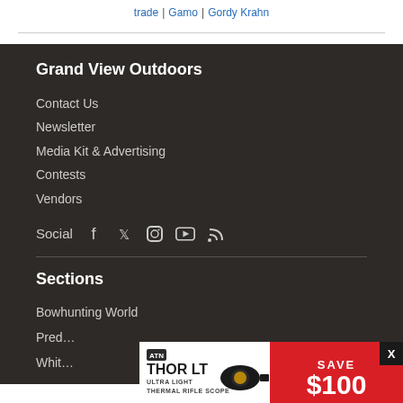trade | Gamo | Gordy Krahn
Grand View Outdoors
Contact Us
Newsletter
Media Kit & Advertising
Contests
Vendors
Social
Sections
Bowhunting World
Predator (partial)
Whitetail (partial)
[Figure (infographic): ATN THOR LT Ultra Light Thermal Rifle Scope advertisement banner with Save $100 offer and close button X]